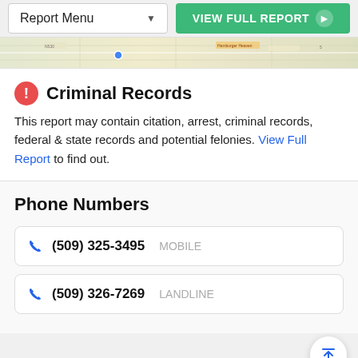Report Menu | VIEW FULL REPORT
[Figure (map): Partial map view strip showing street map]
Criminal Records
This report may contain citation, arrest, criminal records, federal & state records and potential felonies. View Full Report to find out.
Phone Numbers
(509) 325-3495  MOBILE
(509) 326-7269  LANDLINE